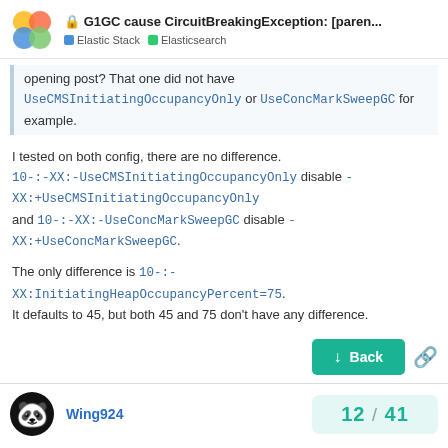G1GC cause CircuitBreakingException: [paren... | Elastic Stack | Elasticsearch
opening post? That one did not have UseCMSInitiatingOccupancyOnly or UseConcMarkSweepGC for example.
I tested on both config, there are no difference. 10-:-XX:-UseCMSInitiatingOccupancyOnly disable -XX:+UseCMSInitiatingOccupancyOnly and 10-:-XX:-UseConcMarkSweepGC disable -XX:+UseConcMarkSweepGC.
The only difference is 10-:-XX:InitiatingHeapOccupancyPercent=75. It defaults to 45, but both 45 and 75 don't have any difference.
Wing924
12 / 41